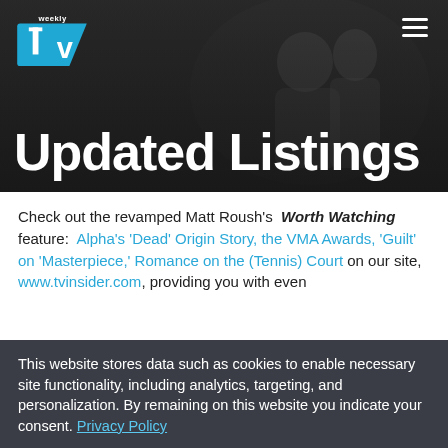[Figure (screenshot): Hero banner showing two people (older couple) in dark background with TV Weekly logo top-left and hamburger menu top-right]
Updated Listings
Check out the revamped Matt Roush's Worth Watching feature: Alpha's 'Dead' Origin Story, the VMA Awards, 'Guilt' on 'Masterpiece,' Romance on the (Tennis) Court on our site, www.tvinsider.com, providing you with even
This website stores data such as cookies to enable necessary site functionality, including analytics, targeting, and personalization. By remaining on this website you indicate your consent. Privacy Policy